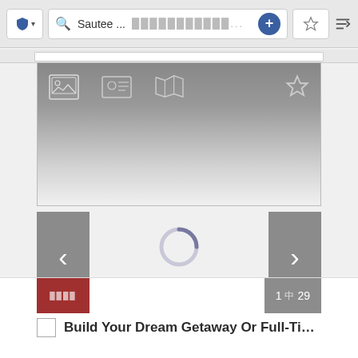[Figure (screenshot): Browser top bar with shield/privacy button, search field showing 'Sautee ...', placeholder text field, plus button, star bookmark button, and sort icon]
[Figure (screenshot): Gray gradient panel with photo icon, contact card icon, map icon on left and star icon on right]
[Figure (screenshot): Navigation left arrow button (gray), loading spinner circle in center, navigation right arrow button (gray)]
Build Your Dream Getaway Or Full-Time Reside...
1 of 29